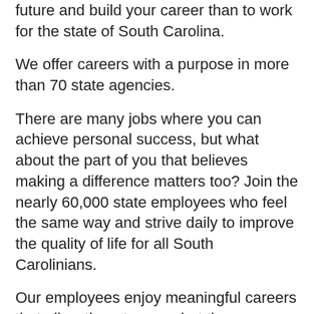future and build your career than to work for the state of South Carolina.
We offer careers with a purpose in more than 70 state agencies.
There are many jobs where you can achieve personal success, but what about the part of you that believes making a difference matters too? Join the nearly 60,000 state employees who feel the same way and strive daily to improve the quality of life for all South Carolinians.
Our employees enjoy meaningful careers that allow them to use what they are passionate about to give back to their community and provide for them and their families.